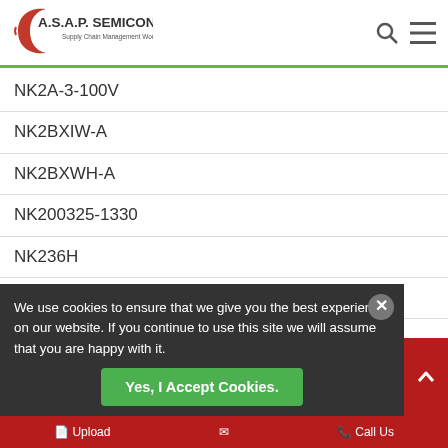A.S.A.P. SEMICONDUCTOR Supply Chain Management Worldwide
NK2A-3-100V
NK2BXIW-A
NK2BXWH-A
NK200325-1330
NK236H
NK236R10 A2
NK2106MFIW
NK236X693
NK22C11192
NK2-7237-000
NK230R10 A2
NK235
NK2BXIW-A
We use cookies to ensure that we give you the best experience on our website. If you continue to use this site we will assume that you are happy with it.
Yes, I Accept Cookies.